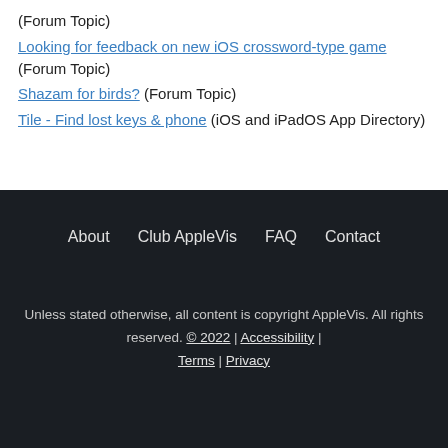(Forum Topic)
Looking for feedback on new iOS crossword-type game (Forum Topic)
Shazam for birds? (Forum Topic)
Tile - Find lost keys & phone (iOS and iPadOS App Directory)
About  Club AppleVis  FAQ  Contact
Unless stated otherwise, all content is copyright AppleVis. All rights reserved. © 2022 | Accessibility | Terms | Privacy